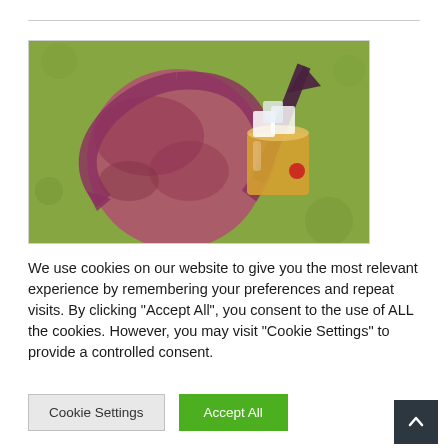[Figure (illustration): Illustration of a dark red/maroon globe with circular arrow and an upward arrow, a glass of whiskey/amber drink with ice, on a green textured background]
We use cookies on our website to give you the most relevant experience by remembering your preferences and repeat visits. By clicking “Accept All”, you consent to the use of ALL the cookies. However, you may visit “Cookie Settings” to provide a controlled consent.
Cookie Settings
Accept All